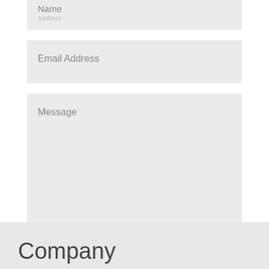Name
Email Address
Message
9 + 8 =
Get in touch
Company